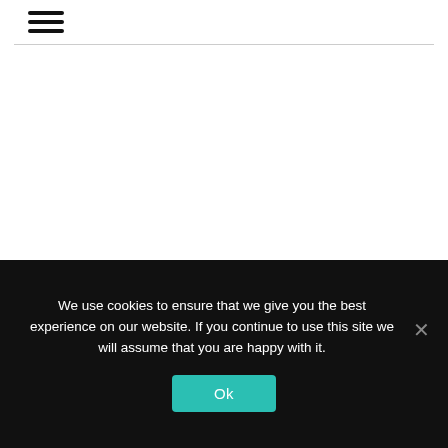≡ (hamburger menu icon)
We use cookies to ensure that we give you the best experience on our website. If you continue to use this site we will assume that you are happy with it.
Ok